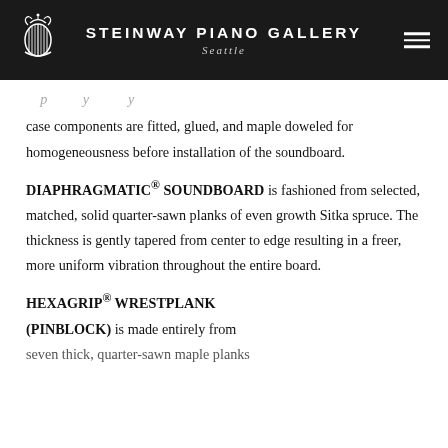STEINWAY PIANO GALLERY Seattle
...partly cut off... case components are fitted, glued, and maple doweled for homogeneousness before installation of the soundboard.
DIAPHRAGMATIC® SOUNDBOARD is fashioned from selected, matched, solid quarter-sawn planks of even growth Sitka spruce. The thickness is gently tapered from center to edge resulting in a freer, more uniform vibration throughout the entire board.
HEXAGRIP® WRESTPLANK (PINBLOCK) is made entirely from seven thick, quarter-sawn maple planks...